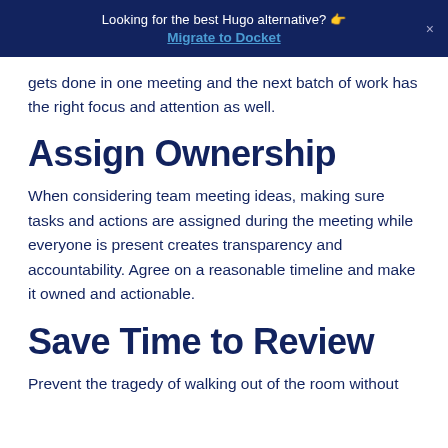Looking for the best Hugo alternative? 👉 Migrate to Docket
gets done in one meeting and the next batch of work has the right focus and attention as well.
Assign Ownership
When considering team meeting ideas, making sure tasks and actions are assigned during the meeting while everyone is present creates transparency and accountability. Agree on a reasonable timeline and make it owned and actionable.
Save Time to Review
Prevent the tragedy of walking out of the room without